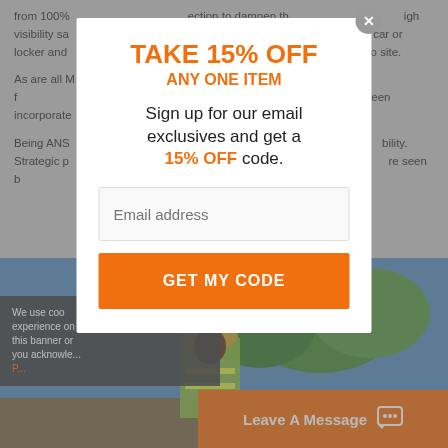from 100% ... ection to dampen th... igh visibility sa... tions perfectly a... a car or locker and ... ANSI Class 3 co... o site.
As are all M... dbreaker is designed f... nality has always bee... ely been incorporate...
Being ANS... lective striping fo... bility. Strategic p... t provide you with th... re seen b...
We use coo experience on this banner or you acknowle... Privacy
[Figure (photo): Worker in high-visibility safety vest and hard hat outdoors]
Leave A Message
TAKE 15% OFF
ANY ONE ITEM
Sign up for our email exclusives and get a 15% OFF code.
Email address
GET MY CODE